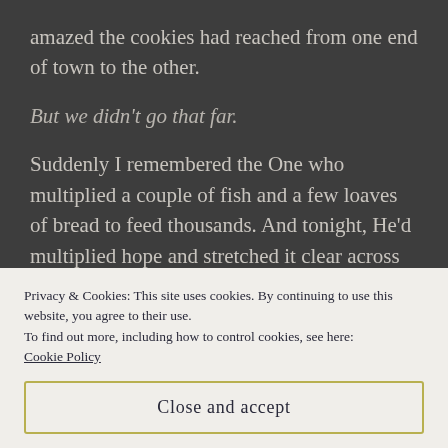amazed the cookies had reached from one end of town to the other.
But we didn't go that far.
Suddenly I remembered the One who multiplied a couple of fish and a few loaves of bread to feed thousands. And tonight, He'd multiplied hope and stretched it clear across town at a time when we all needed it. When I needed it. God wasn't far away. He hadn't given up on me or any of us. He was still the God of godly miracles and
Privacy & Cookies: This site uses cookies. By continuing to use this website, you agree to their use.
To find out more, including how to control cookies, see here: Cookie Policy
Close and accept